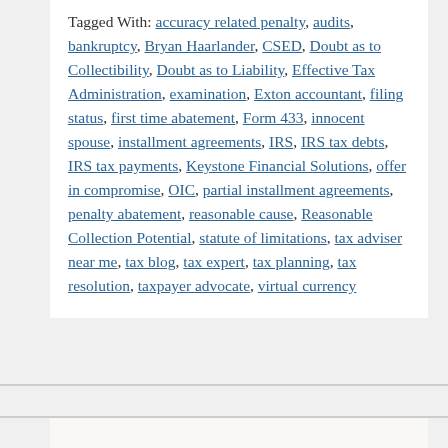Tagged With: accuracy related penalty, audits, bankruptcy, Bryan Haarlander, CSED, Doubt as to Collectibility, Doubt as to Liability, Effective Tax Administration, examination, Exton accountant, filing status, first time abatement, Form 433, innocent spouse, installment agreements, IRS, IRS tax debts, IRS tax payments, Keystone Financial Solutions, offer in compromise, OIC, partial installment agreements, penalty abatement, reasonable cause, Reasonable Collection Potential, statute of limitations, tax adviser near me, tax blog, tax expert, tax planning, tax resolution, taxpayer advocate, virtual currency